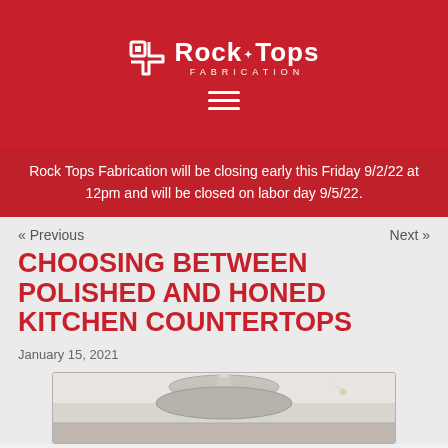Rock Tops Fabrication
Rock Tops Fabrication will be closing early this Friday 9/2/22 at 12pm and will be closed on labor day 9/5/22.
« Previous    Next »
CHOOSING BETWEEN POLISHED AND HONED KITCHEN COUNTERTOPS
January 15, 2021
[Figure (photo): Photo of a kitchen countertop scene with a pendant lamp visible at the top]